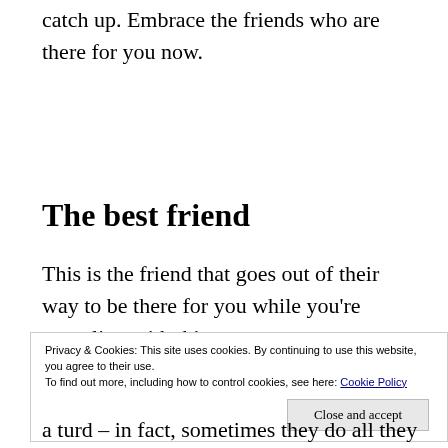catch up. Embrace the friends who are there for you now.
The best friend
This is the friend that goes out of their way to be there for you while you're grappling with this new
Privacy & Cookies: This site uses cookies. By continuing to use this website, you agree to their use. To find out more, including how to control cookies, see here: Cookie Policy
a turd – in fact, sometimes they do all they can to